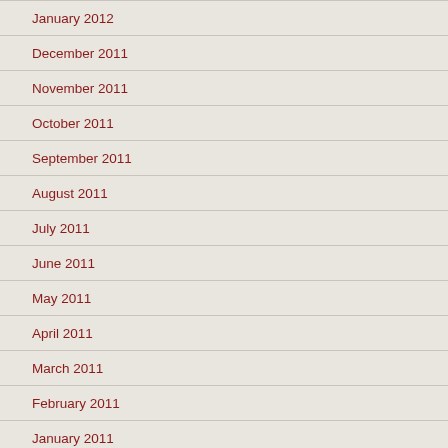January 2012
December 2011
November 2011
October 2011
September 2011
August 2011
July 2011
June 2011
May 2011
April 2011
March 2011
February 2011
January 2011
November 2010